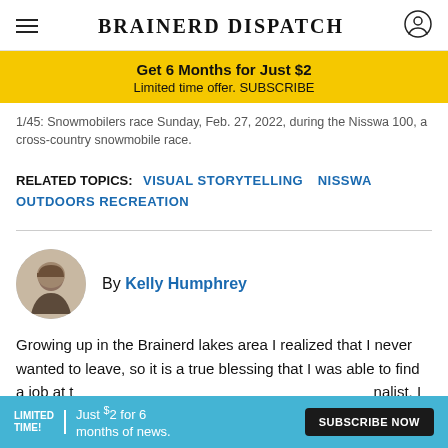BRAINERD DISPATCH
Get 6 Months for Just $2
Limited time offer. SUBSCRIBE
1/45: Snowmobilers race Sunday, Feb. 27, 2022, during the Nisswa 100, a cross-country snowmobile race.
RELATED TOPICS: VISUAL STORYTELLING  NISSWA  OUTDOORS RECREATION
By Kelly Humphrey
Growing up in the Brainerd lakes area I realized that I never wanted to leave, so it is a true blessing that I was able to find a job at t...nalist, I work in...ring our rea...nd
LIMITED TIME! Just $2 for 6 months of news. SUBSCRIBE NOW